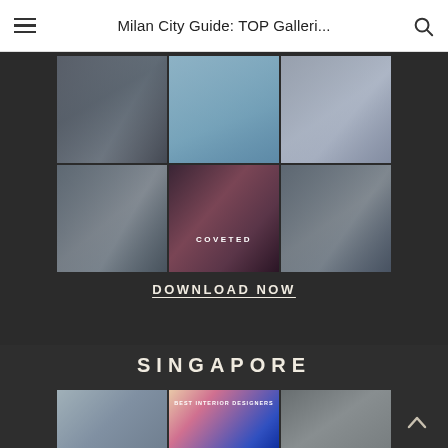Milan City Guide: TOP Galleri...
[Figure (photo): Collage of luxury interior design room photos arranged in a 3x2 grid, with a 'COVETED' watermark overlay on the center-bottom image.]
DOWNLOAD NOW
SINGAPORE
[Figure (photo): Collage of Singapore best interior designer room photos arranged in a 1x3 grid, partially visible at bottom of page. Center image has 'BEST INTERIOR DESIGNERS' watermark.]